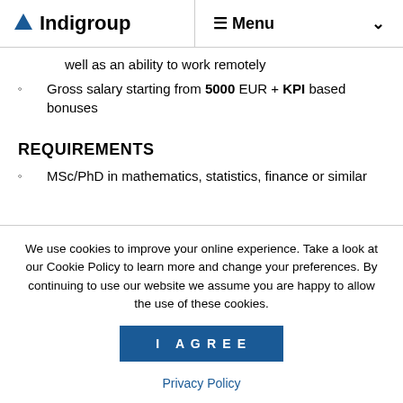Indigroup | Menu
well as an ability to work remotely
Gross salary starting from 5000 EUR + KPI based bonuses
REQUIREMENTS
MSc/PhD in mathematics, statistics, finance or similar
We use cookies to improve your online experience. Take a look at our Cookie Policy to learn more and change your preferences. By continuing to use our website we assume you are happy to allow the use of these cookies.
I AGREE
Privacy Policy